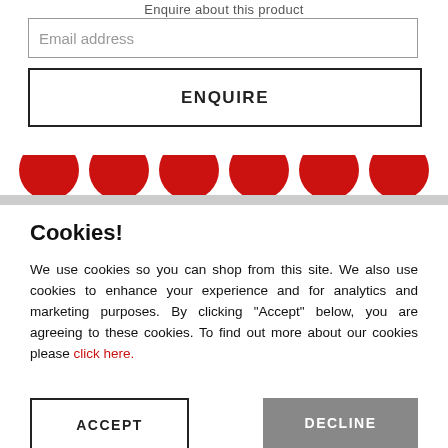Enquire about this product
Email address
ENQUIRE
[Figure (illustration): Row of red circles (social media or navigation icons) partially visible at the top of a cookie consent overlay]
Cookies!
We use cookies so you can shop from this site. We also use cookies to enhance your experience and for analytics and marketing purposes. By clicking "Accept" below, you are agreeing to these cookies. To find out more about our cookies please click here.
ACCEPT
DECLINE